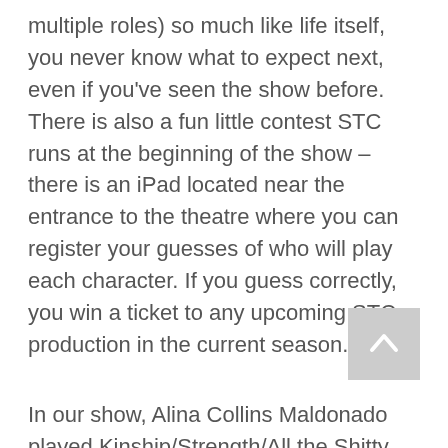multiple roles) so much like life itself, you never know what to expect next, even if you've seen the show before. There is also a fun little contest STC runs at the beginning of the show – there is an iPad located near the entrance to the theatre where you can register your guesses of who will play each character. If you guess correctly, you win a ticket to any upcoming STC production in the current season.
In our show, Alina Collins Maldonado played Kinship/Strength/All the Shitty Evil Things, Kelli Simpkins played Stuff/Senses, Ayana Workman played Cousin/Mind, Elan Zafir played Friendship/Beauty, and Avi Roque played the main character, "Everybody". There